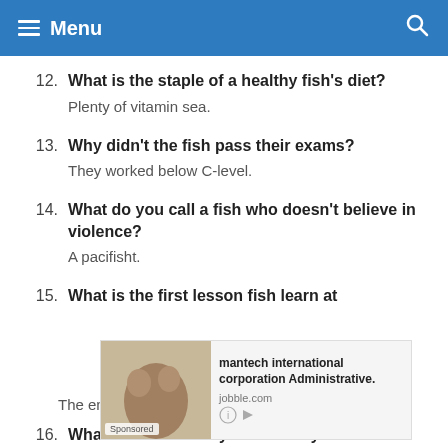Menu
12. What is the staple of a healthy fish's diet? Plenty of vitamin sea.
13. Why didn't the fish pass their exams? They worked below C-level.
14. What do you call a fish who doesn't believe in violence? A pacifisht.
15. What is the first lesson fish learn at... The end of a hook is the point of no return.
[Figure (screenshot): Advertisement overlay: mantech international corporation Administrative. jobble.com. Sponsored label. Photo of two women.]
16. What did the fish say when everyone left...